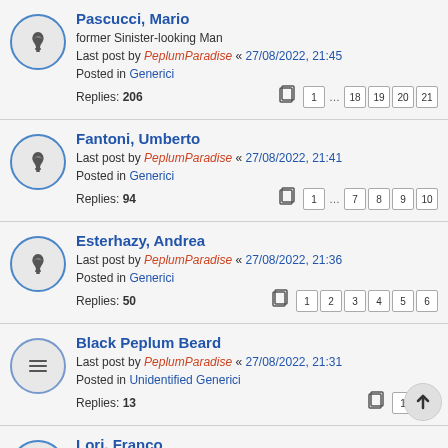Pascucci, Mario — former Sinister-looking Man. Last post by PeplumParadise « 27/08/2022, 21:45. Posted in Generici. Replies: 206
Fantoni, Umberto. Last post by PeplumParadise « 27/08/2022, 21:41. Posted in Generici. Replies: 94
Esterhazy, Andrea. Last post by PeplumParadise « 27/08/2022, 21:36. Posted in Generici. Replies: 50
Black Peplum Beard. Last post by PeplumParadise « 27/08/2022, 21:31. Posted in Unidentified Generici. Replies: 13
Lori, Franco